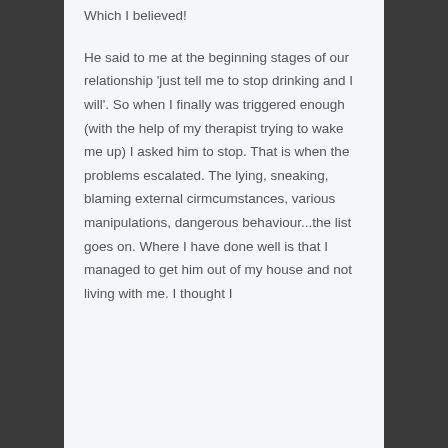Which I believed! He said to me at the beginning stages of our relationship 'just tell me to stop drinking and I will'. So when I finally was triggered enough (with the help of my therapist trying to wake me up) I asked him to stop. That is when the problems escalated. The lying, sneaking, blaming external cirmcumstances, various manipulations, dangerous behaviour...the list goes on. Where I have done well is that I managed to get him out of my house and not living with me. I thought I